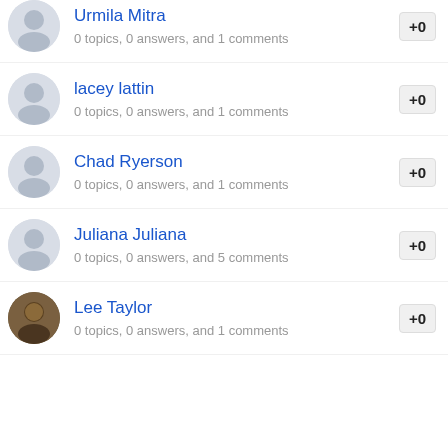Urmila Mitra — 0 topics, 0 answers, and 1 comments
lacey lattin — 0 topics, 0 answers, and 1 comments
Chad Ryerson — 0 topics, 0 answers, and 1 comments
Juliana Juliana — 0 topics, 0 answers, and 5 comments
Lee Taylor — 0 topics, 0 answers, and 1 comments